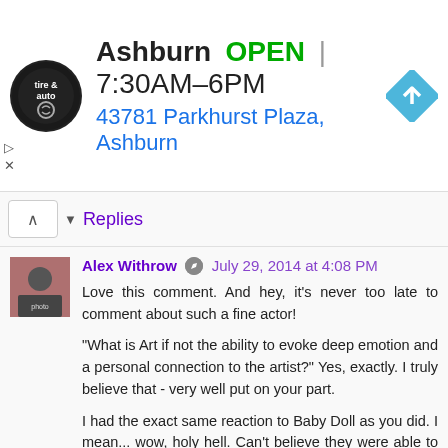[Figure (screenshot): Advertisement banner for a tire and auto shop in Ashburn showing logo, OPEN status, hours 7:30AM-6PM, address 43781 Parkhurst Plaza Ashburn, and navigation icon]
Replies
Alex Withrow  July 29, 2014 at 4:08 PM
Love this comment. And hey, it's never too late to comment about such a fine actor!

"What is Art if not the ability to evoke deep emotion and a personal connection to the artist?" Yes, exactly. I truly believe that - very well put on your part.

I had the exact same reaction to Baby Doll as you did. I mean... wow, holy hell. Can't believe they were able to get that film made. Wallach is such a force in it.

I will certainly miss him dearly.